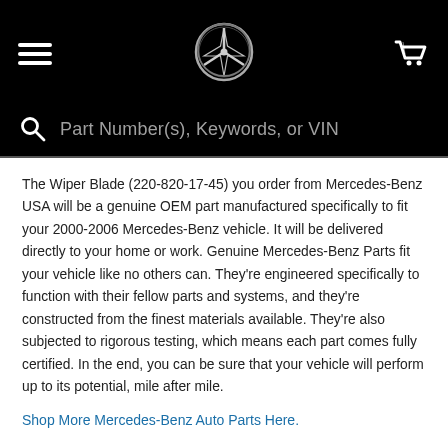[Figure (screenshot): Mercedes-Benz website header with hamburger menu, Mercedes-Benz star logo centered, and shopping cart icon on right, all on black background]
[Figure (screenshot): Search bar on black background with magnifying glass icon and placeholder text 'Part Number(s), Keywords, or VIN']
The Wiper Blade (220-820-17-45) you order from Mercedes-Benz USA will be a genuine OEM part manufactured specifically to fit your 2000-2006 Mercedes-Benz vehicle. It will be delivered directly to your home or work. Genuine Mercedes-Benz Parts fit your vehicle like no others can. They're engineered specifically to function with their fellow parts and systems, and they're constructed from the finest materials available. They're also subjected to rigorous testing, which means each part comes fully certified. In the end, you can be sure that your vehicle will perform up to its potential, mile after mile.
Shop More Mercedes-Benz Auto Parts Here.
Policies
Shipping Policy